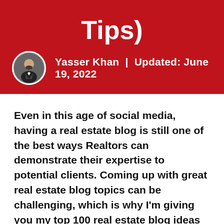Tips)
Yasser Khan  |  Updated: June 19, 2022
Even in this age of social media, having a real estate blog is still one of the best ways Realtors can demonstrate their expertise to potential clients. Coming up with great real estate blog topics can be challenging, which is why I'm giving you my top 100 real estate blog ideas (with 30 live examples) that you can write about on your website. I'll also share some crucial tips and tricks I've learned as a writer to